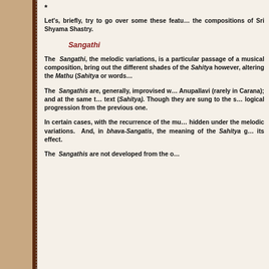*
Let's, briefly, try to go over some these features in the compositions of Sri Shyama Shastry.
Sangathi
The Sangathi, the melodic variations, is a particular passage of a musical composition, bring out the different shades of the Sahitya however, altering the Mathu (Sahitya or words...
The Sangathis are, generally, improvised w... Anupallavi (rarely in Carana); and at the same t... text (Sahitya). Though they are sung to the sa... logical progression from the previous one.
In certain cases, with the recurrence of the mu... hidden under the melodic variations. And, in bhava-Sangatis, the meaning of the Sahitya g... its effect.
The Sangathis are not developed from the o...